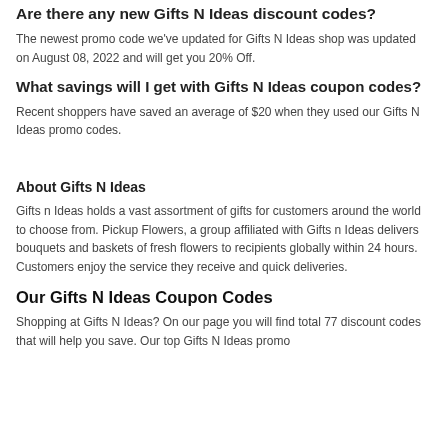Are there any new Gifts N Ideas discount codes?
The newest promo code we've updated for Gifts N Ideas shop was updated on August 08, 2022 and will get you 20% Off.
What savings will I get with Gifts N Ideas coupon codes?
Recent shoppers have saved an average of $20 when they used our Gifts N Ideas promo codes.
About Gifts N Ideas
Gifts n Ideas holds a vast assortment of gifts for customers around the world to choose from. Pickup Flowers, a group affiliated with Gifts n Ideas delivers bouquets and baskets of fresh flowers to recipients globally within 24 hours. Customers enjoy the service they receive and quick deliveries.
Our Gifts N Ideas Coupon Codes
Shopping at Gifts N Ideas? On our page you will find total 77 discount codes that will help you save. Our top Gifts N Ideas promo